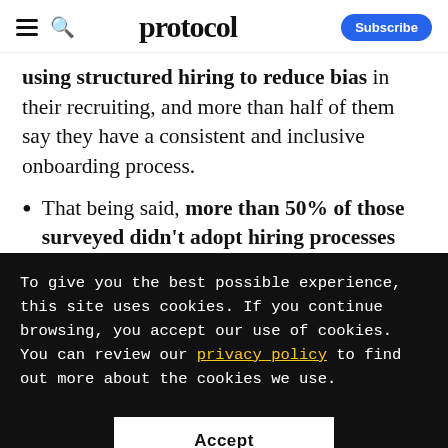protocol
using structured hiring to reduce bias in their recruiting, and more than half of them say they have a consistent and inclusive onboarding process.
That being said, more than 50% of those surveyed didn't adopt hiring processes that promote diverse talent pools
To give you the best possible experience, this site uses cookies. If you continue browsing, you accept our use of cookies. You can review our privacy policy to find out more about the cookies we use.
Accept